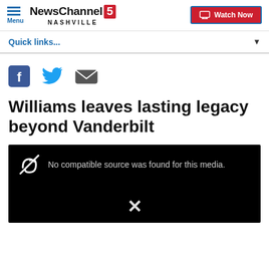Menu | NewsChannel 5 NASHVILLE | Watch Now
Quick links...
[Figure (other): Social share icons: Facebook, Twitter, Email]
Williams leaves lasting legacy beyond Vanderbilt
[Figure (other): Video player showing error: No compatible source was found for this media.]